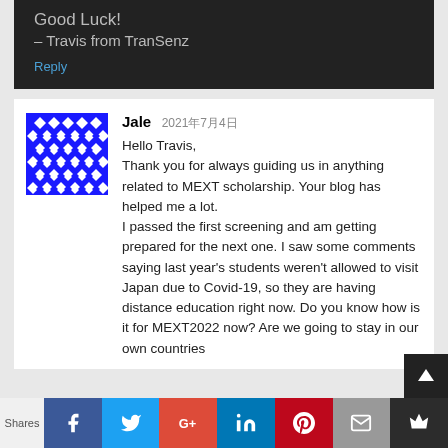Good Luck!
– Travis from TranSenz
Reply
Jale 2021年7月4日
Hello Travis,
Thank you for always guiding us in anything related to MEXT scholarship. Your blog has helped me a lot.
I passed the first screening and am getting prepared for the next one. I saw some comments saying last year's students weren't allowed to visit Japan due to Covid-19, so they are having distance education right now. Do you know how is it for MEXT2022 now? Are we going to stay in our own countries
Shares | f | t | G+ | in | P | mail | crown